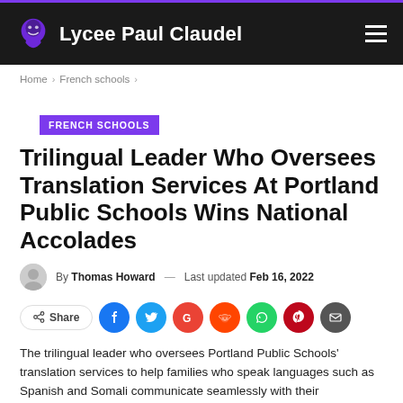Lycee Paul Claudel
Home > French schools >
FRENCH SCHOOLS
Trilingual Leader Who Oversees Translation Services At Portland Public Schools Wins National Accolades
By Thomas Howard — Last updated Feb 16, 2022
Share
The trilingual leader who oversees Portland Public Schools' translation services to help families who speak languages such as Spanish and Somali communicate seamlessly with their